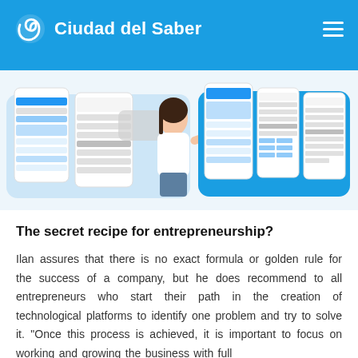Ciudad del Saber
[Figure (screenshot): Composite of mobile app screenshots showing Ciudad del Saber app UI with a woman holding a phone in the center]
The secret recipe for entrepreneurship?
Ilan assures that there is no exact formula or golden rule for the success of a company, but he does recommend to all entrepreneurs who start their path in the creation of technological platforms to identify one problem and try to solve it. "Once this process is achieved, it is important to focus on working and growing the business with full